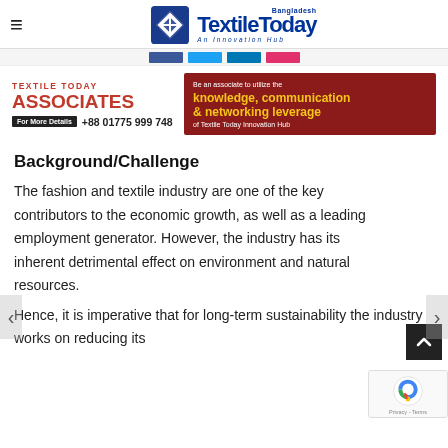Textile Today Bangladesh - An Innovation Hub
[Figure (logo): Textile Today Bangladesh logo with blue diamond icon and 'An Innovation Hub' tagline]
[Figure (infographic): Textile Today Associates ad with phone number +88 01775 999 748 and 'For More Details' button]
[Figure (infographic): Dark red banner ad: Be an associate to utilize the knowledge, communication & networking leverage of Textile Today Innovation Hub]
Background/Challenge
The fashion and textile industry are one of the key contributors to the economic growth, as well as a leading employment generator. However, the industry has its inherent detrimental effect on environment and natural resources.
Hence, it is imperative that for long-term sustainability the industry works on reducing its